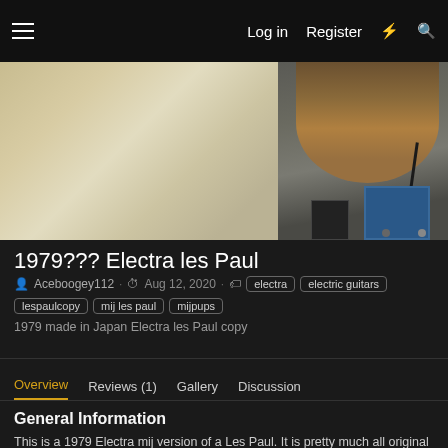Log in  Register
[Figure (photo): Photo of a 1979 Electra Les Paul copy guitar on a cloth surface with cables and guitar pedals visible]
1979??? Electra les Paul
Aceboogey112 · Aug 12, 2020 · electra  electric guitars  lespaulcopy  mij les paul  mijpups
1979 made in Japan Electra les Paul copy
Overview  Reviews (1)  Gallery  Discussion
General Information
This is a 1979 Electra mij version of a Les Paul. It is pretty much all original as far as I can tail I don't know much about the pick up and I can't find much one of the pots was replaced sometime with a Cts al